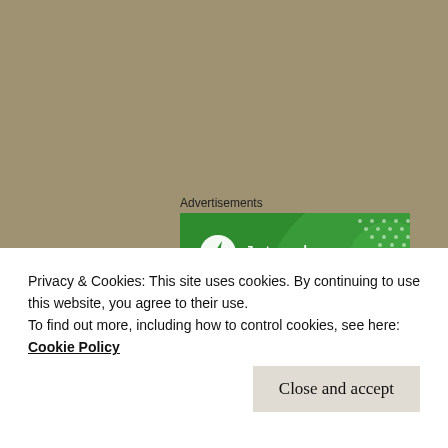Advertisements
[Figure (screenshot): Jetpack advertisement banner with green background showing Jetpack logo and text 'The best real-time WordPress backup plugin']
Privacy & Cookies: This site uses cookies. By continuing to use this website, you agree to their use.
To find out more, including how to control cookies, see here: Cookie Policy
Close and accept